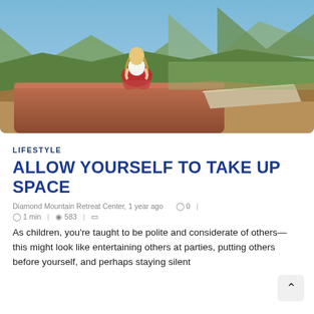[Figure (photo): A woman with long blonde hair wearing a white top and red patterned pants sits cross-legged in a meditative pose on a terracotta/adobe wall or structure, with a sweeping mountain and valley landscape behind her under a blue sky.]
LIFESTYLE
ALLOW YOURSELF TO TAKE UP SPACE
Diamond Mountain Retreat Center, 1 year ago   ◯ 0  |
⊙ 1 min  |  👁 583  |  🔖
As children, you're taught to be polite and considerate of others—this might look like entertaining others at parties, putting others before yourself, and perhaps staying silent